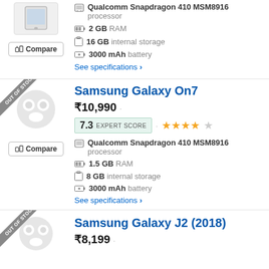Qualcomm Snapdragon 410 MSM8916 processor
2 GB RAM
16 GB internal storage
3000 mAh battery
See specifications ›
Samsung Galaxy On7
₹10,990
7.3 EXPERT SCORE · ★★★★☆
Qualcomm Snapdragon 410 MSM8916 processor
1.5 GB RAM
8 GB internal storage
3000 mAh battery
See specifications ›
Samsung Galaxy J2 (2018)
₹8,199